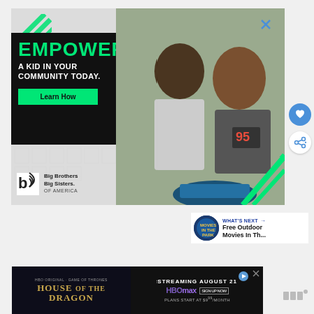[Figure (infographic): Big Brothers Big Sisters of America advertisement. Left side has black box with green 'EMPOWER' text, 'A KID IN YOUR COMMUNITY TODAY.' in white, and a green 'Learn How' button. Logo at bottom of left panel. Right side shows a photo of an adult man and a boy (wearing a #95 racing shirt) working together on a robotic/mechanical project. Green diagonal stripe decorations at top-left and bottom-right. An X close button at top-right of ad.]
[Figure (infographic): Heart/like button (blue circle with heart icon) and share button (white circle with share icon) on the right side.]
[Figure (infographic): What's Next section with Movies in the Park circular logo and text: 'WHAT'S NEXT →' and 'Free Outdoor Movies In Th...']
[Figure (infographic): Bottom banner advertisement for House of the Dragon on HBO Max. Left side shows 'HOUSE OF THE DRAGON' in gold/yellow text with HBO Original and Game of Thrones branding. Right side shows 'STREAMING AUGUST 21' with HBO Max logo, Sign Up Now button, 'PLANS START AT $9.99/MONTH', and a close X button.]